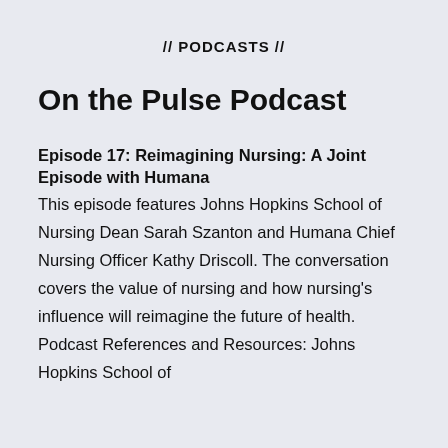// PODCASTS //
On the Pulse Podcast
Episode 17: Reimagining Nursing: A Joint Episode with Humana
This episode features Johns Hopkins School of Nursing Dean Sarah Szanton and Humana Chief Nursing Officer Kathy Driscoll. The conversation covers the value of nursing and how nursing's influence will reimagine the future of health. Podcast References and Resources: Johns Hopkins School of